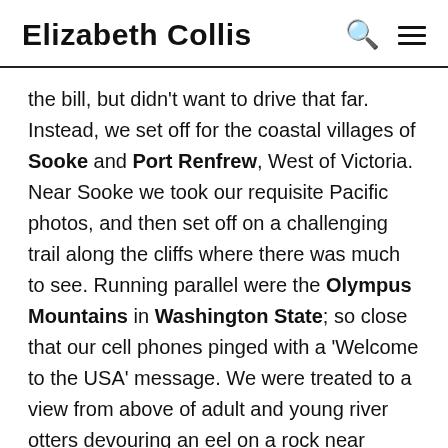Elizabeth Collis
the bill, but didn't want to drive that far. Instead, we set off for the coastal villages of Sooke and Port Renfrew, West of Victoria. Near Sooke we took our requisite Pacific photos, and then set off on a challenging trail along the cliffs where there was much to see. Running parallel were the Olympus Mountains in Washington State; so close that our cell phones pinged with a 'Welcome to the USA' message. We were treated to a view from above of adult and young river otters devouring an eel on a rock near shore. On the trail were old, old forests, ancient petroglyphs of a seal and eagle, and dozens